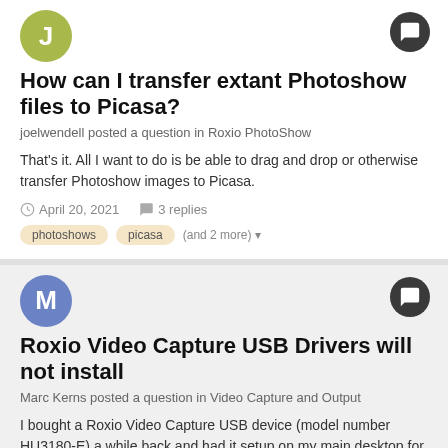[Figure (illustration): Avatar circle with letter J, olive/yellow-green color]
How can I transfer extant Photoshow files to Picasa?
joelwendell posted a question in Roxio PhotoShow
That's it. All I want to do is be able to drag and drop or otherwise transfer Photoshow images to Picasa.
April 20, 2021   3 replies
photoshows   picasa   (and 2 more)
[Figure (illustration): Avatar circle with letter M, blue/periwinkle color]
Roxio Video Capture USB Drivers will not install
Marc Kerns posted a question in Video Capture and Output
I bought a Roxio Video Capture USB device (model number HU3180-E) a while back and had it setup on my main desktop for streaming off